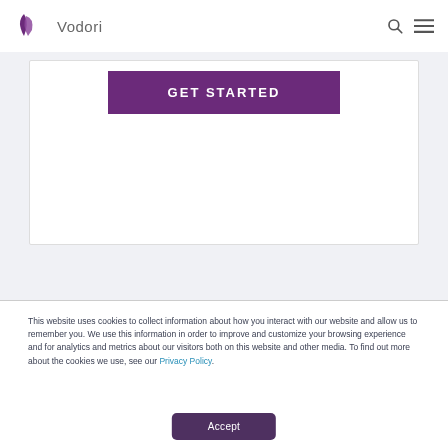Vodori
[Figure (illustration): GET STARTED button on a white card with light gray background]
This website uses cookies to collect information about how you interact with our website and allow us to remember you. We use this information in order to improve and customize your browsing experience and for analytics and metrics about our visitors both on this website and other media. To find out more about the cookies we use, see our Privacy Policy.
Accept